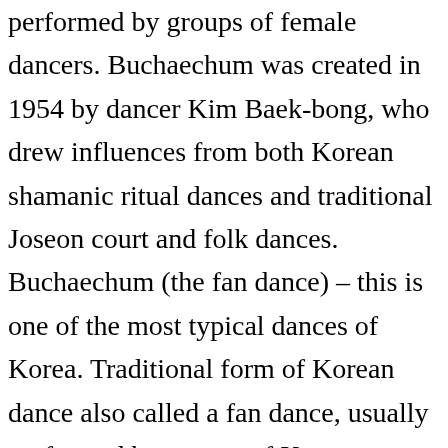performed by groups of female dancers. Buchaechum was created in 1954 by dancer Kim Baek-bong, who drew influences from both Korean shamanic ritual dances and traditional Joseon court and folk dances. Buchaechum (the fan dance) – this is one of the most typical dances of Korea. Traditional form of Korean dance also called a fan dance, usually performed by groups of Korean female dancers. It is typically worn in marriage ceremonies, but can also be used for rituals and dances such as buchaechum. Yayue was originally a form of classical music and dance